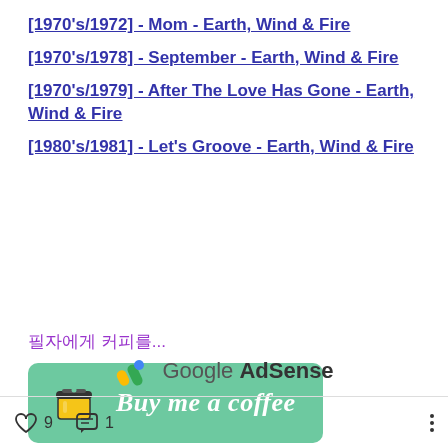[1970's/1972] - Mom - Earth, Wind & Fire
[1970's/1978] - September - Earth, Wind & Fire
[1970's/1979] - After The Love Has Gone - Earth, Wind & Fire
[1980's/1981] - Let's Groove - Earth, Wind & Fire
필자에게 커피를...
[Figure (other): Green 'Buy me a coffee' button with coffee cup icon]
[Figure (logo): Google AdSense logo]
9 likes, 1 comment, more options